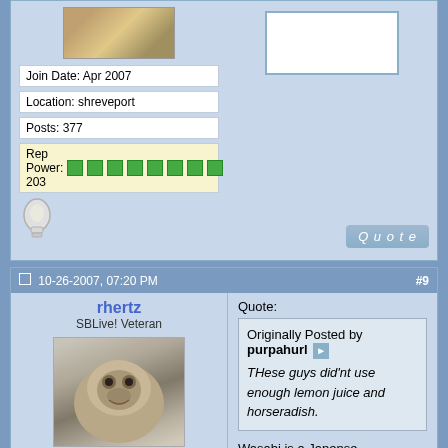[Figure (photo): Partial photo of an animal (top of page, cropped)]
Join Date: Apr 2007
Location: shreveport
Posts: 377
Rep Power: 203 (green squares)
[Figure (illustration): Lightbulb icon]
Quote
10-26-2007, 07:20 PM   #9
rhertz
SBLive! Veteran
[Figure (photo): Photo of a pug dog lying down]
Join Date: May 2006
Posts: 2,834
Rep Power: 274 (green squares)
Quote: Originally Posted by purpahurl THese guys did'nt use enough lemon juice and horseradish.
Wasabi is a Japense horseradish and I read that it really does have anti microbial properties